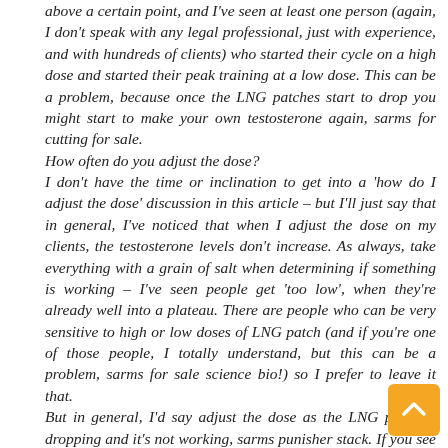above a certain point, and I've seen at least one person (again, I don't speak with any legal professional, just with experience, and with hundreds of clients) who started their cycle on a high dose and started their peak training at a low dose. This can be a problem, because once the LNG patches start to drop you might start to make your own testosterone again, sarms for cutting for sale. How often do you adjust the dose? I don't have the time or inclination to get into a 'how do I adjust the dose' discussion in this article – but I'll just say that in general, I've noticed that when I adjust the dose on my clients, the testosterone levels don't increase. As always, take everything with a grain of salt when determining if something is working – I've seen people get 'too low', when they're already well into a plateau. There are people who can be very sensitive to high or low doses of LNG patch (and if you're one of those people, I totally understand, but this can be a problem, sarms for sale science bio!) so I prefer to leave it that. But in general, I'd say adjust the dose as the LNG patch is dropping and it's not working, sarms punisher stack. If you see little to no testosterone increase after adjusting the dose (and often, this is how it will be), then you may